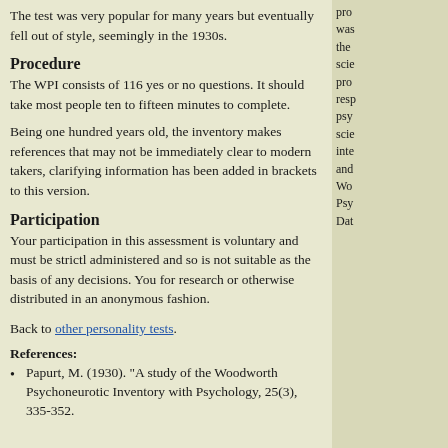The test was very popular for many years but eventually fell out of style, seemingly in the 1930s.
Procedure
The WPI consists of 116 yes or no questions. It should take most people ten to fifteen minutes to complete.
Being one hundred years old, the inventory makes references that may not be immediately clear to modern takers, clarifying information has been added in brackets to this version.
Participation
Your participation in this assessment is voluntary and must be strictly administered and so is not suitable as the basis of any decisions. You for research or otherwise distributed in an anonymous fashion.
Back to other personality tests.
References:
Papurt, M. (1930). "A study of the Woodworth Psychoneurotic Inventory with Psychology, 25(3), 335-352.